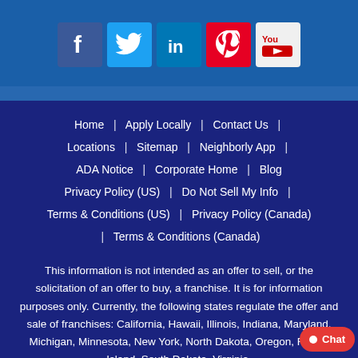[Figure (illustration): Social media icons row: Facebook (blue), Twitter (light blue), LinkedIn (dark blue), Pinterest (red), YouTube (white/red)]
Home | Apply Locally | Contact Us | Locations | Sitemap | Neighborly App | ADA Notice | Corporate Home | Blog | Privacy Policy (US) | Do Not Sell My Info | Terms & Conditions (US) | Privacy Policy (Canada) | Terms & Conditions (Canada)
This information is not intended as an offer to sell, or the solicitation of an offer to buy, a franchise. It is for information purposes only. Currently, the following states regulate the offer and sale of franchises: California, Hawaii, Illinois, Indiana, Maryland, Michigan, Minnesota, New York, North Dakota, Oregon, Rhode Island, South Dakota, Virginia,